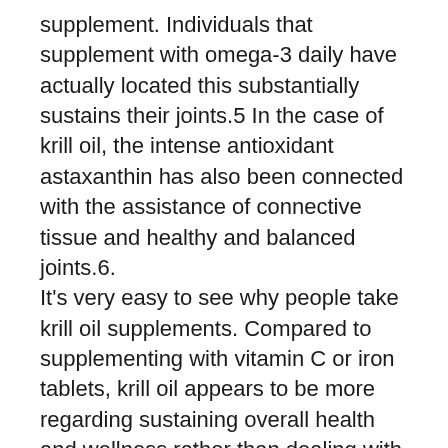supplement. Individuals that supplement with omega-3 daily have actually located this substantially sustains their joints.5 In the case of krill oil, the intense antioxidant astaxanthin has also been connected with the assistance of connective tissue and healthy and balanced joints.6.
It's very easy to see why people take krill oil supplements. Compared to supplementing with vitamin C or iron tablets, krill oil appears to be more regarding sustaining overall health and wellness rather than dealing with specific problems or shortages.

The scientific area has validated lots of excellent benefits of omega-3 fatty acids, and I make certain there are several various other benefits yet to be confirmed.